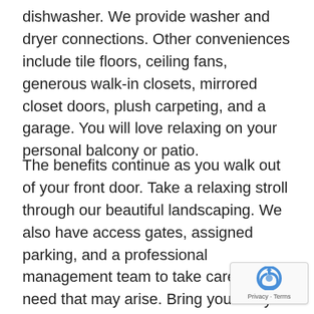dishwasher. We provide washer and dryer connections. Other conveniences include tile floors, ceiling fans, generous walk-in closets, mirrored closet doors, plush carpeting, and a garage. You will love relaxing on your personal balcony or patio.
The benefits continue as you walk out of your front door. Take a relaxing stroll through our beautiful landscaping. We also have access gates, assigned parking, and a professional management team to take care of any need that may arise. Bring your furry friends, as we know pets are family too. Give us a call and come take a tour of Escalon Villas Townhomes. You wil[l want] to make us your future home.
[Figure (logo): reCAPTCHA badge with logo and Privacy - Terms text]